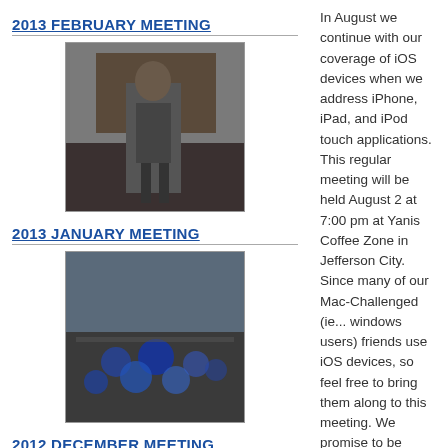2013 FEBRUARY MEETING
[Figure (photo): Photo of a person standing in front of a projection screen in a meeting room]
2013 JANUARY MEETING
[Figure (photo): Photo of an audience seated in a meeting room with blue lighting]
2012 DECEMBER MEETING
[Figure (photo): Photo of a person with a camera on a tripod]
PHOTO ALBUMS
In August we continue with our coverage of iOS devices when we address iPhone, iPad, and iPod touch applications. This regular meeting will be held August 2 at 7:00 pm at Yanis Coffee Zone in Jefferson City. Since many of our Mac-Challenged (ie... windows users) friends use iOS devices, so feel free to bring them along to this meeting. We promise to be "operating system agnostic" and only